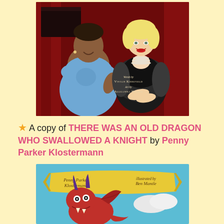[Figure (illustration): Book cover illustration showing two women seated together — one in a blue dress, one in a black outfit with fur and pearls — in front of a piano in a red-curtained room. Text on cover reads 'Words by Vivian Kirkfield Art by Alleanna Harris'.]
★ A copy of THERE WAS AN OLD DRAGON WHO SWALLOWED A KNIGHT by Penny Parker Klostermann
[Figure (illustration): Book cover for 'There Was an Old Dragon Who Swallowed a Knight' showing a red cartoon dragon on a blue sky background with a yellow banner ribbon. Credits: Penny Parker Klostermann, illustrated by Ben Mantle.]